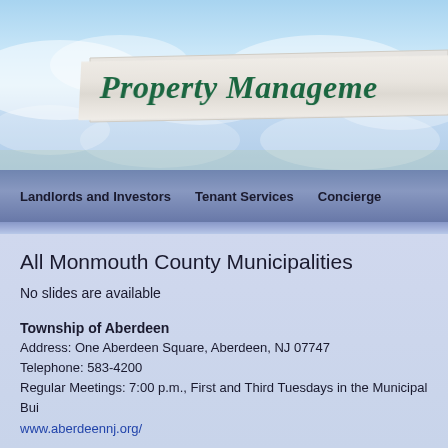[Figure (screenshot): Website header with sky and clouds background showing 'Property Management' title on a ribbon banner]
Property Management
Landlords and Investors | Tenant Services | Concierge
All Monmouth County Municipalities
No slides are available
Township of Aberdeen
Address: One Aberdeen Square, Aberdeen, NJ 07747
Telephone: 583-4200
Regular Meetings: 7:00 p.m., First and Third Tuesdays in the Municipal Bui...
www.aberdeennj.org/
Borough of Allenhurst